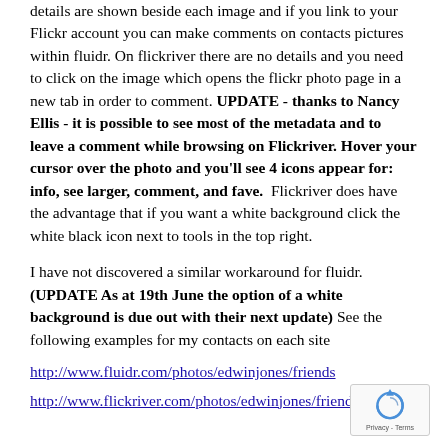details are shown beside each image and if you link to your Flickr account you can make comments on contacts pictures within fluidr. On flickriver there are no details and you need to click on the image which opens the flickr photo page in a new tab in order to comment. UPDATE - thanks to Nancy Ellis - it is possible to see most of the metadata and to leave a comment while browsing on Flickriver. Hover your cursor over the photo and you'll see 4 icons appear for: info, see larger, comment, and fave.  Flickriver does have the advantage that if you want a white background click the white black icon next to tools in the top right.
I have not discovered a similar workaround for fluidr. (UPDATE As at 19th June the option of a white background is due out with their next update) See the following examples for my contacts on each site
http://www.fluidr.com/photos/edwinjones/friends
http://www.flickriver.com/photos/edwinjones/friends/?
[Figure (other): Google reCAPTCHA widget showing a circular arrow icon with 'Privacy - Terms' label]